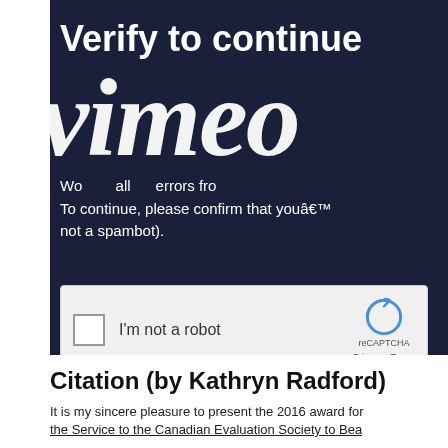[Figure (screenshot): Vimeo 'Verify to continue' page with reCAPTCHA widget on dark navy background]
Citation (by Kathryn Radford)
It is my sincere pleasure to present the 2016 award for the Service to the Canadian Evaluation Society to Bea...